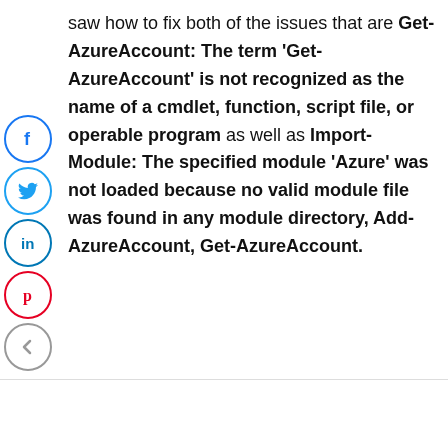saw how to fix both of the issues that are Get-AzureAccount: The term 'Get-AzureAccount' is not recognized as the name of a cmdlet, function, script file, or operable program as well as Import-Module: The specified module 'Azure' was not loaded because no valid module file was found in any module directory, Add-AzureAccount, Get-AzureAccount.